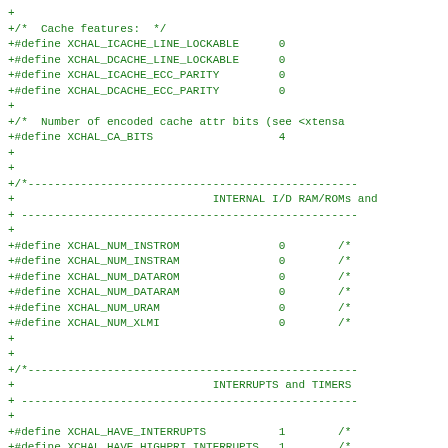+
+/*  Cache features:  */
+#define XCHAL_ICACHE_LINE_LOCKABLE      0
+#define XCHAL_DCACHE_LINE_LOCKABLE      0
+#define XCHAL_ICACHE_ECC_PARITY         0
+#define XCHAL_DCACHE_ECC_PARITY         0
+
+/*  Number of encoded cache attr bits (see <xtensa
+#define XCHAL_CA_BITS                   4
+
+
+/*--------------------------------------------------
+                              INTERNAL I/D RAM/ROMs and
+ ---------------------------------------------------
+
+#define XCHAL_NUM_INSTROM               0        /*
+#define XCHAL_NUM_INSTRAM               0        /*
+#define XCHAL_NUM_DATAROM               0        /*
+#define XCHAL_NUM_DATARAM               0        /*
+#define XCHAL_NUM_URAM                  0        /*
+#define XCHAL_NUM_XLMI                  0        /*
+
+
+/*--------------------------------------------------
+                              INTERRUPTS and TIMERS
+ ---------------------------------------------------
+
+#define XCHAL_HAVE_INTERRUPTS           1        /*
+#define XCHAL_HAVE_HIGHPRI_INTERRUPTS   1        /*
+#define XCHAL_HAVE_NMI                  0        /*